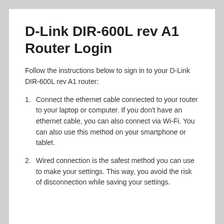D-Link DIR-600L rev A1 Router Login
Follow the instructions below to sign in to your D-Link DIR-600L rev A1 router:
Connect the ethernet cable connected to your router to your laptop or computer. If you don’t have an ethernet cable, you can also connect via Wi-Fi. You can also use this method on your smartphone or tablet.
Wired connection is the safest method you can use to make your settings. This way, you avoid the risk of disconnection while saving your settings.